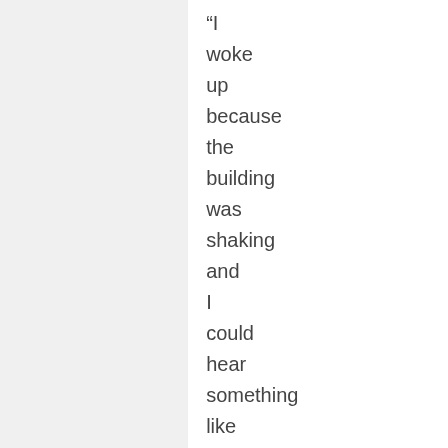“I woke up because the building was shaking and I could hear something like thunder,” Adigezalova told Human Rights Watch. “I took the